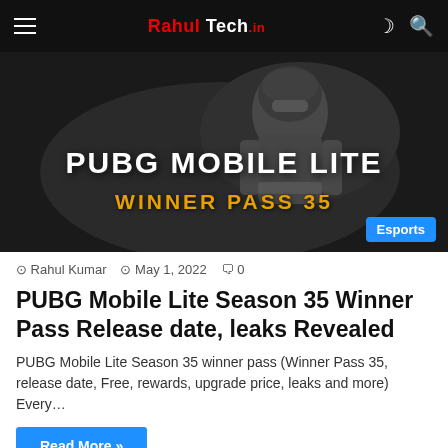Rahul Tech.in
[Figure (photo): PUBG Mobile Lite Season 35 Winner Pass promotional banner with a soldier character on dark background, showing text PUBG MOBILE LITE and WINNER PASS 35 with an Esports badge]
Rahul Kumar  May 1, 2022  0
PUBG Mobile Lite Season 35 Winner Pass Release date, leaks Revealed
PUBG Mobile Lite Season 35 winner pass (Winner Pass 35, release date, Free, rewards, upgrade price, leaks and more) Every…
Read More »